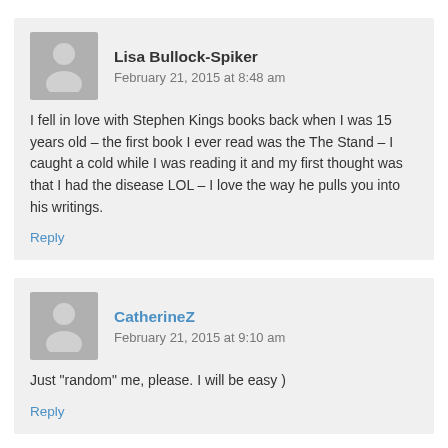Lisa Bullock-Spiker
February 21, 2015 at 8:48 am
I fell in love with Stephen Kings books back when I was 15 years old – the first book I ever read was the The Stand – I caught a cold while I was reading it and my first thought was that I had the disease LOL – I love the way he pulls you into his writings.
Reply
CatherineZ
February 21, 2015 at 9:10 am
Just "random" me, please. I will be easy )
Reply